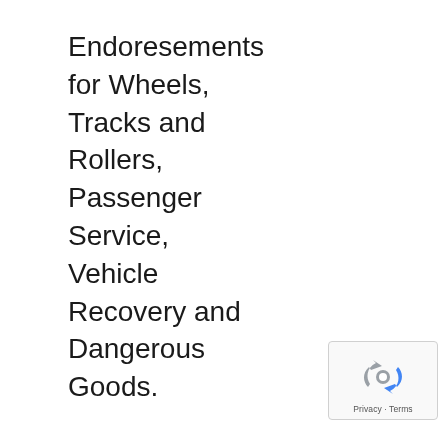Endoresements for Wheels, Tracks and Rollers, Passenger Service, Vehicle Recovery and Dangerous Goods.
[Figure (logo): Google reCAPTCHA badge with recycling arrows icon and Privacy · Terms text]